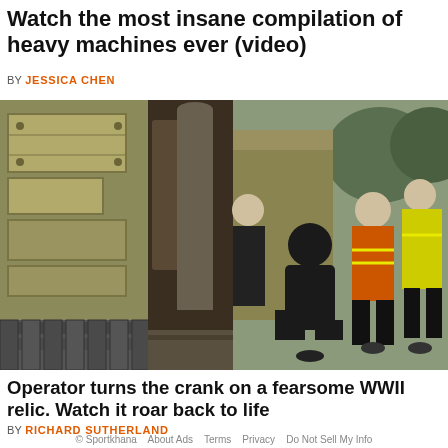Watch the most insane compilation of heavy machines ever (video)
BY JESSICA CHEN
[Figure (photo): Workers in safety vests examining a large military tank or heavy machine outdoors]
Operator turns the crank on a fearsome WWII relic. Watch it roar back to life
BY RICHARD SUTHERLAND
© Sportkhana   About Ads   Terms   Privacy   Do Not Sell My Info